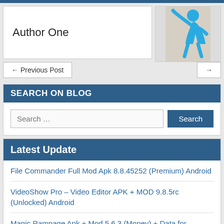Author One
← Previous Post
→
[Figure (illustration): Blue stick figure person illustration on beige/gray background]
SEARCH ON BLOG
Search …
Search
Latest Update
File Commander Full Mod Apk 8.8.45252 (Premium) Android
VideoShow Pro – Video Editor APK + MOD 9.8.5rc (Unlocked) Android
Magic Rampage Apk + Mod 5.6.3 (Money) + Data for Android
XPlayer (Video Player All Format) APK 2.3.1.2 [Unlocked] Android
Rally Fury Extreme Racing Apk + MOD1.96 (Money) Android
MX Player Pro (FULL) Apk + Mod 1.49.0 for Android
State of Survival MOD APK 1.16.50 (Full) Android [Latest]